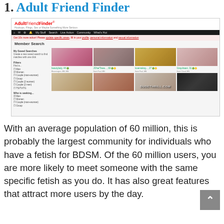1. Adult Friend Finder
[Figure (screenshot): Screenshot of AdultFriendFinder website showing Member Search page with profile thumbnails and sidebar filters.]
With an average population of 60 million, this is probably the largest community for individuals who have a fetish for BDSM. Of the 60 million users, you are more likely to meet someone with the same specific fetish as you do. It has also great features that attract more users by the day.